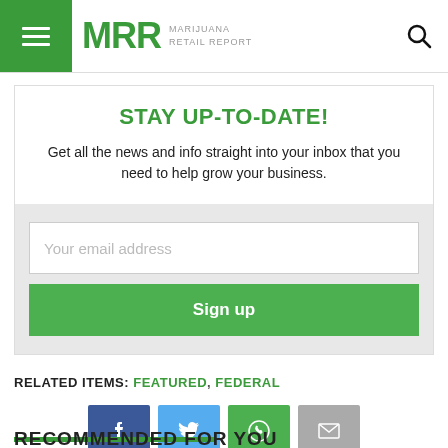MRR MARIJUANA RETAIL REPORT
STAY UP-TO-DATE!
Get all the news and info straight into your inbox that you need to help grow your business.
RELATED ITEMS: FEATURED, FEDERAL
[Figure (other): Social share buttons: Facebook, Twitter, WhatsApp, Email]
RECOMMENDED FOR YOU